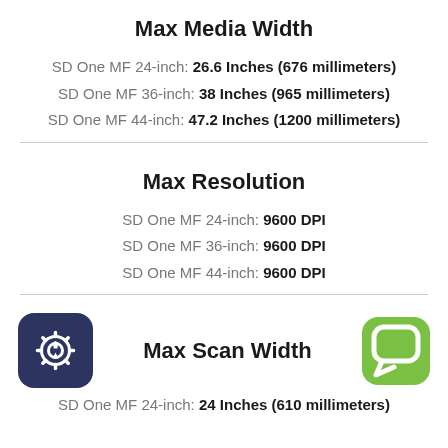Max Media Width
SD One MF 24-inch: 26.6 Inches (676 millimeters)
SD One MF 36-inch: 38 Inches (965 millimeters)
SD One MF 44-inch: 47.2 Inches (1200 millimeters)
Max Resolution
SD One MF 24-inch: 9600 DPI
SD One MF 36-inch: 9600 DPI
SD One MF 44-inch: 9600 DPI
Max Scan Width
SD One MF 24-inch: 24 Inches (610 millimeters)